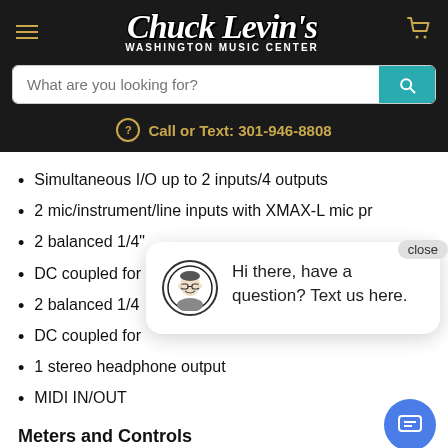[Figure (logo): Chuck Levin's Washington Music Center logo with hamburger menu and cart icon on dark background]
What are you looking for?
Call or Text: 301-946-8808
Simultaneous I/O up to 2 inputs/4 outputs
2 mic/instrument/line inputs with XMAX-L mic pr
2 balanced 1/4"
DC coupled for
2 balanced 1/4
DC coupled for
1 stereo headphone output
MIDI IN/OUT
Meters and Controls
[Figure (illustration): Chat popup with avatar illustration saying 'Hi there, have a question? Text us here.' with close button and blue chat button]